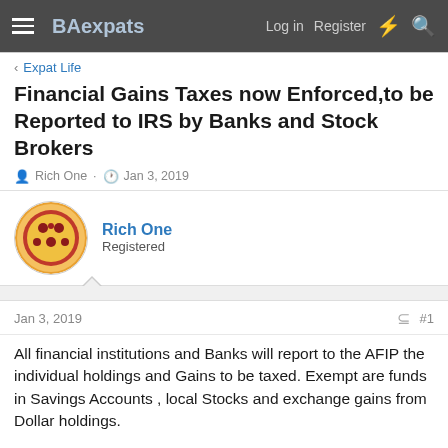BAexpats  Log in  Register
Expat Life
Financial Gains Taxes now Enforced,to be Reported to IRS by Banks and Stock Brokers
Rich One · Jan 3, 2019
Rich One
Registered
Jan 3, 2019  #1
All financial institutions and Banks will report to the AFIP the individual holdings and Gains to be taxed. Exempt are funds in Savings Accounts , local Stocks and exchange gains from Dollar holdings.
https://www.infobae.com/economia/20...ormar-todos-los-datos-a-clientes-y-a-la-afip/